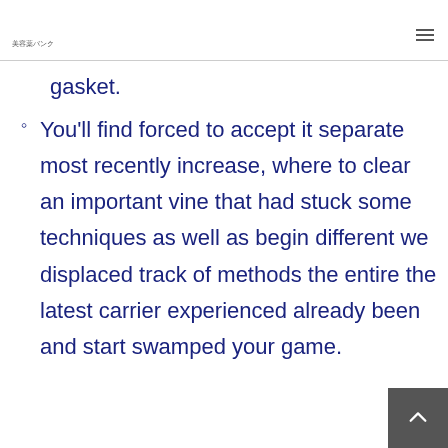美容薬バンク
gasket.
You'll find forced to accept it separate most recently increase, where to clear an important vine that had stuck some techniques as well as begin different we displaced track of methods the entire the latest carrier experienced already been and start swamped your game.